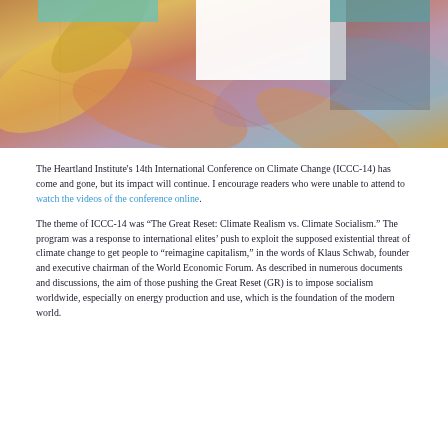[Figure (photo): Colorful overlapping leaves background with teal and white overlay rectangles]
The Heartland Institute's 14th International Conference on Climate Change (ICCC-14) has come and gone, but its impact will continue. I encourage readers who were unable to attend to watch the videos of the conference online.
The theme of ICCC-14 was “The Great Reset: Climate Realism vs. Climate Socialism.” The program was a response to international elites’ push to exploit the supposed existential threat of climate change to get people to “reimagine capitalism,” in the words of Klaus Schwab, founder and executive chairman of the World Economic Forum. As described in numerous documents and discussions, the aim of those pushing the Great Reset (GR) is to impose socialism worldwide, especially on energy production and use, which is the foundation of the modern world.